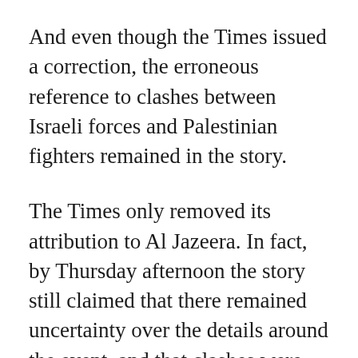And even though the Times issued a correction, the erroneous reference to clashes between Israeli forces and Palestinian fighters remained in the story.
The Times only removed its attribution to Al Jazeera. In fact, by Thursday afternoon the story still claimed that there remained uncertainty over the details around the event, and that clashes were ongoing when the shooting took place.
“The circumstances surrounding the shooting of the journalist, Shireen Abu